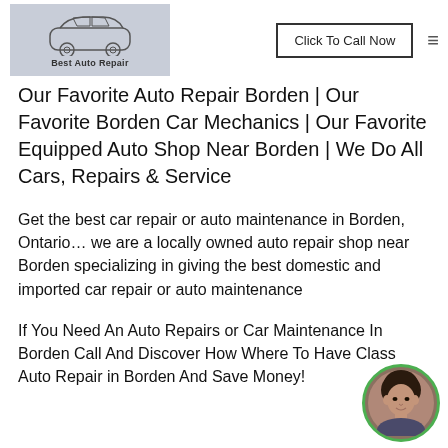[Figure (logo): Best Auto Repair logo with car outline illustration on grey background]
Click To Call Now
Our Favorite Auto Repair Borden | Our Favorite Borden Car Mechanics | Our Favorite Equipped Auto Shop Near Borden | We Do All Cars, Repairs & Service
Get the best car repair or auto maintenance in Borden, Ontario… we are a locally owned auto repair shop near Borden specializing in giving the best domestic and imported car repair or auto maintenance
If You Need An Auto Repairs or Car Maintenance In Borden Call And Discover How Where To Have Class Auto Repair in Borden And Save Money!
[Figure (photo): Circular avatar photo of a person with dark hair, bordered in green]